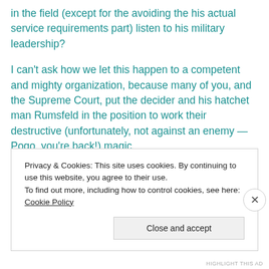in the field (except for the avoiding the his actual service requirements part) listen to his military leadership?
I can't ask how we let this happen to a competent and mighty organization, because many of you, and the Supreme Court, put the decider and his hatchet man Rumsfeld in the position to work their destructive (unfortunately, not against an enemy — Pogo, you're back!) magic.
Congress: it's in your hands — we gave you the mandate last year. First, Cheney, then
Privacy & Cookies: This site uses cookies. By continuing to use this website, you agree to their use.
To find out more, including how to control cookies, see here: Cookie Policy
Close and accept